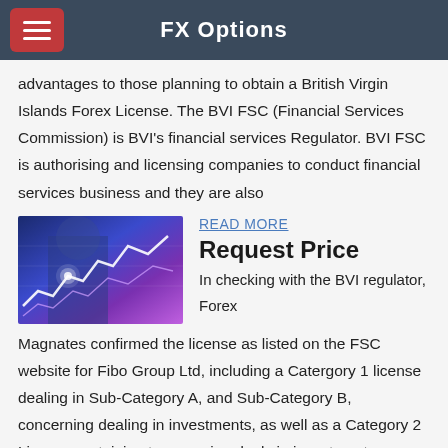FX Options
advantages to those planning to obtain a British Virgin Islands Forex License. The BVI FSC (Financial Services Commission) is BVI's financial services Regulator. BVI FSC is authorising and licensing companies to conduct financial services business and they are also
[Figure (photo): Financial chart image showing stock market graphs with a businessman in the background, purple/blue tones]
READ MORE
Request Price
In checking with the BVI regulator, Forex Magnates confirmed the license as listed on the FSC website for Fibo Group Ltd, including a Catergory 1 license dealing in Sub-Category A, and Sub-Category B, concerning dealing in investments, as well as a Category 2 License pertaining to arranging deals in investments, as per the FSC's website.